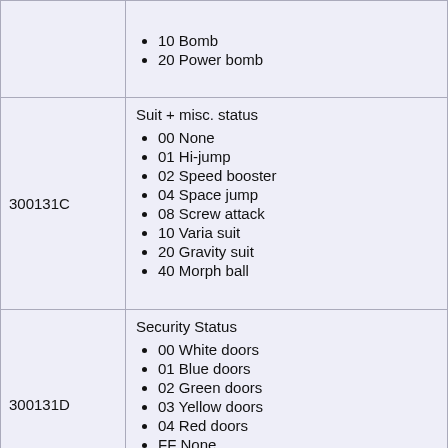|  | 10 Bomb
20 Power bomb |
| 300131C | Suit + misc. status
00 None
01 Hi-jump
02 Speed booster
04 Space jump
08 Screw attack
10 Varia suit
20 Gravity suit
40 Morph ball |
| 300131D | Security Status
00 White doors
01 Blue doors
02 Green doors
03 Yellow doors
04 Red doors
FF None |